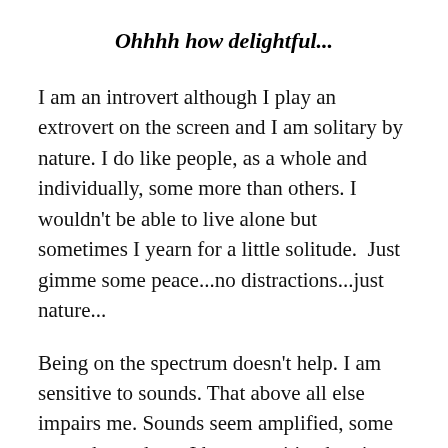Ohhhh how delightful...
I am an introvert although I play an extrovert on the screen and I am solitary by nature. I do like people, as a whole and individually, some more than others. I wouldn't be able to live alone but sometimes I yearn for a little solitude.  Just gimme some peace...no distractions...just nature...
Being on the spectrum doesn't help. I am sensitive to sounds. That above all else impairs me. Sounds seem amplified, some more than others. I have sensitive hearing and I can get distracted by noises. It is like my mind is in